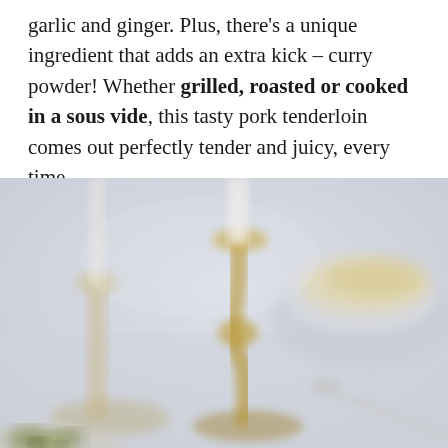garlic and ginger. Plus, there's a unique ingredient that adds an extra kick – curry powder! Whether grilled, roasted or cooked in a sous vide, this tasty pork tenderloin comes out perfectly tender and juicy, every time.
[Figure (photo): A blurred close-up food photograph showing brass/gold candlesticks, a white bowl with rice or grain dish, cutlery, and a plate with salad in the foreground, all on a light grey surface.]